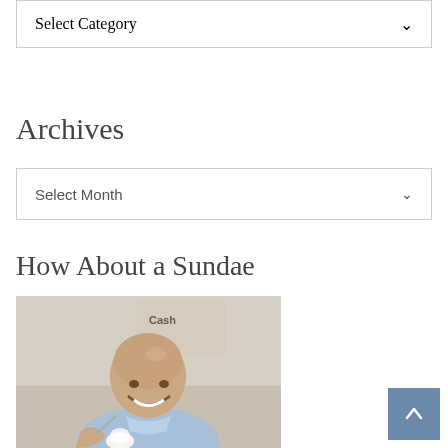Select Category
Archives
Select Month
How About a Sundae
[Figure (photo): An elderly bald man smiling, wearing a light blue shirt, seated at what appears to be an ice cream shop, holding a spoon near a sundae. Background shows a menu board with text 'Cash'.]